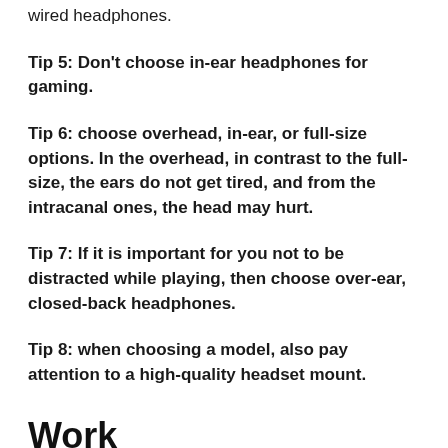wired headphones.
Tip 5: Don't choose in-ear headphones for gaming.
Tip 6: choose overhead, in-ear, or full-size options. In the overhead, in contrast to the full-size, the ears do not get tired, and from the intracanal ones, the head may hurt.
Tip 7: If it is important for you not to be distracted while playing, then choose over-ear, closed-back headphones.
Tip 8: when choosing a model, also pay attention to a high-quality headset mount.
Work
If you are a DJ, or your work is somehow connected with